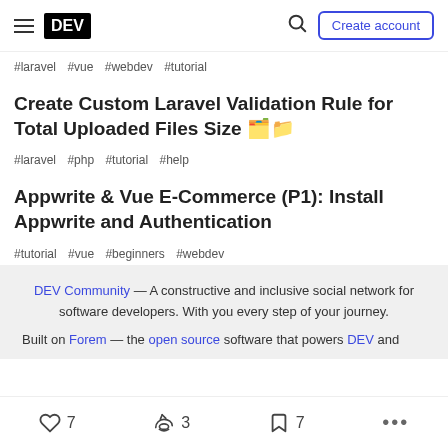DEV — Create account
#laravel #vue #webdev #tutorial
Create Custom Laravel Validation Rule for Total Uploaded Files Size 🗂️📁
#laravel #php #tutorial #help
Appwrite & Vue E-Commerce (P1): Install Appwrite and Authentication
#tutorial #vue #beginners #webdev
DEV Community — A constructive and inclusive social network for software developers. With you every step of your journey.
Built on Forem — the open source software that powers DEV and
7 likes  3 unicorns  7 bookmarks  more options